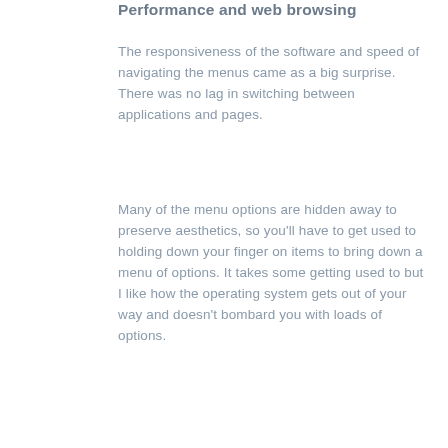Performance and web browsing
The responsiveness of the software and speed of navigating the menus came as a big surprise. There was no lag in switching between applications and pages.
Many of the menu options are hidden away to preserve aesthetics, so you'll have to get used to holding down your finger on items to bring down a menu of options. It takes some getting used to but I like how the operating system gets out of your way and doesn't bombard you with loads of options.